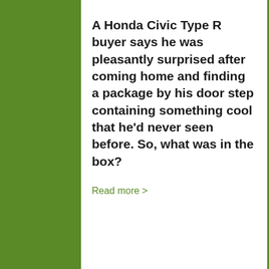A Honda Civic Type R buyer says he was pleasantly surprised after coming home and finding a package by his door step containing something cool that he'd never seen before. So, what was in the box?
Read more >